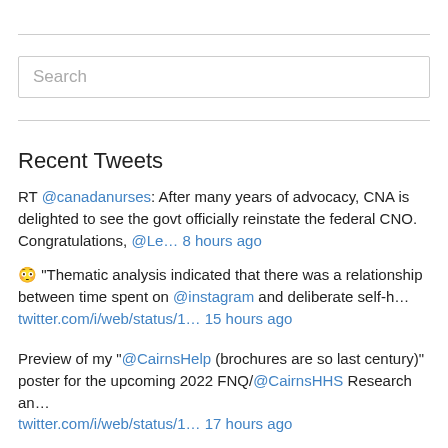Search
Recent Tweets
RT @canadanurses: After many years of advocacy, CNA is delighted to see the govt officially reinstate the federal CNO. Congratulations, @Le… 8 hours ago
😳 "Thematic analysis indicated that there was a relationship between time spent on @instagram and deliberate self-h… twitter.com/i/web/status/1… 15 hours ago
Preview of my "@CairnsHelp (brochures are so last century)" poster for the upcoming 2022 FNQ/@CairnsHHS Research an… twitter.com/i/web/status/1… 17 hours ago